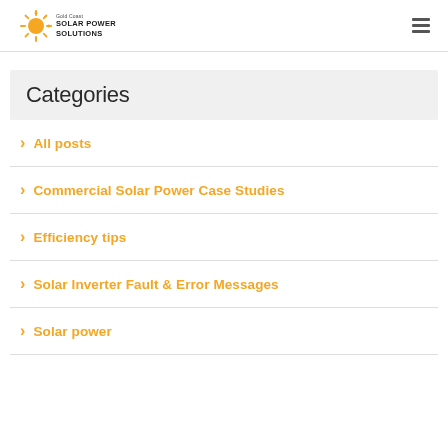Gold Coast Solar Power Solutions
Categories
All posts
Commercial Solar Power Case Studies
Efficiency tips
Solar Inverter Fault & Error Messages
Solar power